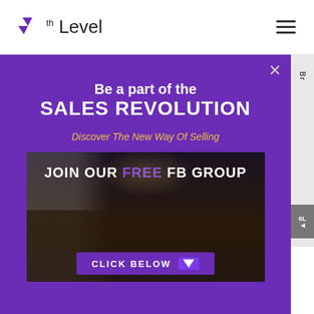7th Level
[Figure (screenshot): Modal popup with purple background. Title reads 'Be a part of the SALES REVOLUTION'. Subtitle in gold: 'Discover The New Way Of Selling'. Below is an image of a speaker in front of a large audience with overlay text 'JOIN OUR FREE FB GROUP' and a 'CLICK BELOW' button with purple arrow.]
9LOxV/Huf_Q/
Pod.casts: